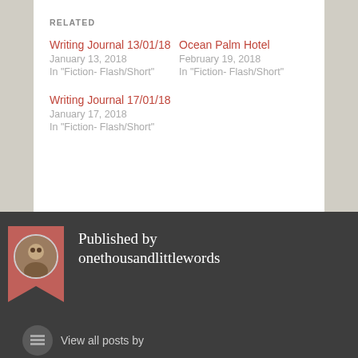RELATED
Writing Journal 13/01/18
January 13, 2018
In "Fiction- Flash/Short"
Ocean Palm Hotel
February 19, 2018
In "Fiction- Flash/Short"
Writing Journal 17/01/18
January 17, 2018
In "Fiction- Flash/Short"
Published by onethousandlittlewords
View all posts by onethousandlittlewords